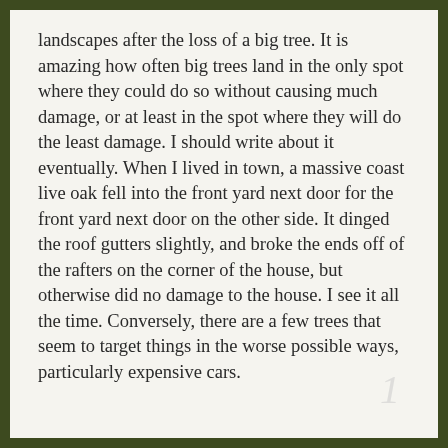landscapes after the loss of a big tree. It is amazing how often big trees land in the only spot where they could do so without causing much damage, or at least in the spot where they will do the least damage. I should write about it eventually. When I lived in town, a massive coast live oak fell into the front yard next door for the front yard next door on the other side. It dinged the roof gutters slightly, and broke the ends off of the rafters on the corner of the house, but otherwise did no damage to the house. I see it all the time. Conversely, there are a few trees that seem to target things in the worse possible ways, particularly expensive cars.